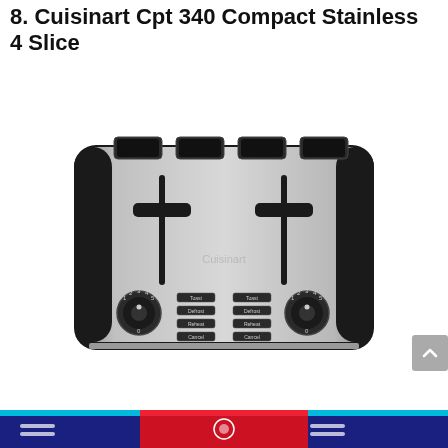8. Cuisinart Cpt 340 Compact Stainless 4 Slice
[Figure (photo): Product photo of Cuisinart CPT-340 Compact Stainless 4-Slice toaster, stainless steel body with black accents, four toast slots on top, two lever handles, two dial controls, and function buttons in the center front panel.]